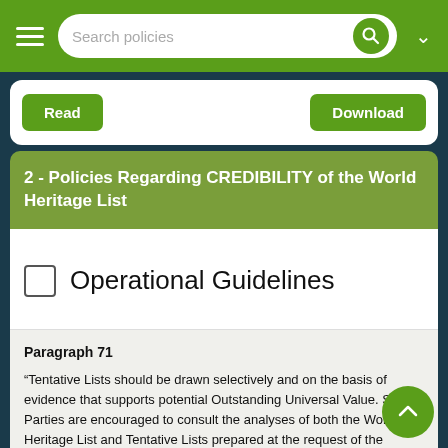Search policies
Read   Download
2 - Policies Regarding CREDIBILITY of the World Heritage List
Operational Guidelines
Paragraph 71
“Tentative Lists should be drawn selectively and on the basis of evidence that supports potential Outstanding Universal Value. States Parties are encouraged to consult the analyses of both the World Heritage List and Tentative Lists prepared at the request of the Committee by ICOMOS and IUCN to identify the gaps in the World Heritage List. These analyses could enable States Parties to compare